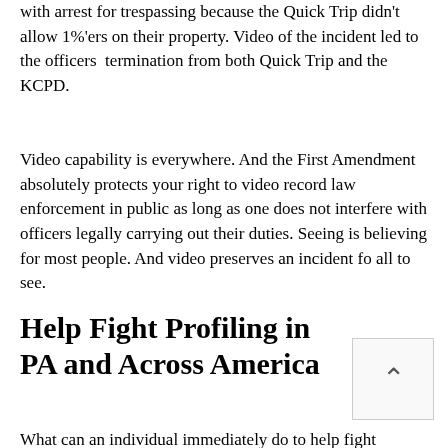with arrest for trespassing because the Quick Trip didn't allow 1%'ers on their property. Video of the incident led to the officers  termination from both Quick Trip and the KCPD.
Video capability is everywhere. And the First Amendment absolutely protects your right to video record law enforcement in public as long as one does not interfere with officers legally carrying out their duties. Seeing is believing for most people. And video preserves an incident fo all to see.
Help Fight Profiling in PA and Across America
What can an individual immediately do to help fight...